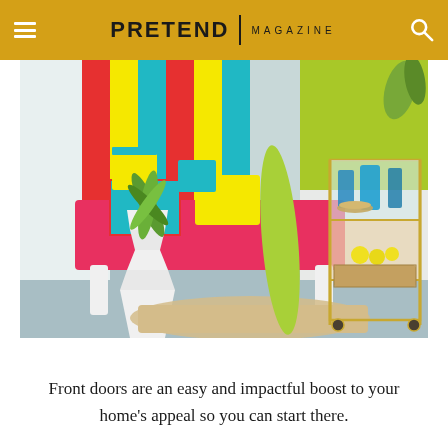PRETEND | MAGAZINE
[Figure (photo): Colorful interior scene with a pink bench, striped cushions, a white geometric planter with a plant, a woven rug, and a gold bar cart with blue glassware and lemons]
Front doors are an easy and impactful boost to your home's appeal so you can start there.